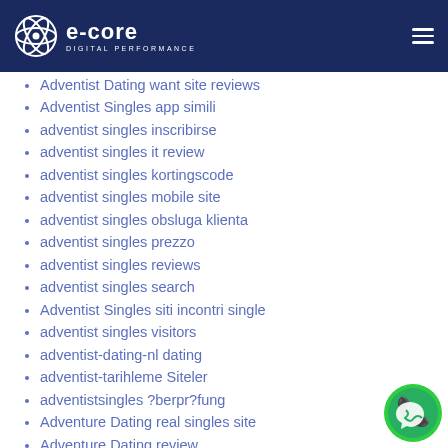e-core DIGITAL PERFORMANCE
Adventist Dating want site reviews
Adventist Singles app simili
adventist singles inscribirse
adventist singles it review
adventist singles kortingscode
adventist singles mobile site
adventist singles obsluga klienta
adventist singles prezzo
adventist singles reviews
adventist singles search
Adventist Singles siti incontri single
adventist singles visitors
adventist-dating-nl dating
adventist-tarihleme Siteler
adventistsingles ?berpr?fung
Adventure Dating real singles site
Adventure Dating review
Adventure Dating reviews
Adventure Dating site
Adventure Dating username
Adventure Dating visitors